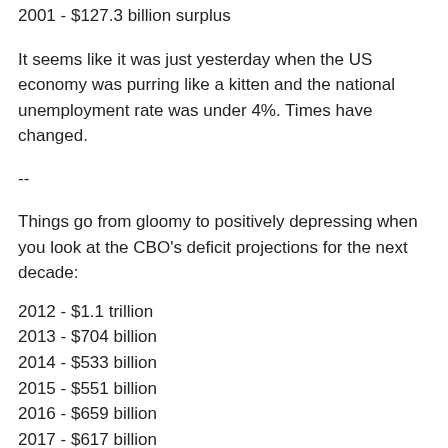2001 - $127.3 billion surplus
It seems like it was just yesterday when the US economy was purring like a kitten and the national unemployment rate was under 4%. Times have changed.
--
Things go from gloomy to positively depressing when you look at the CBO's deficit projections for the next decade:
2012 - $1.1 trillion
2013 - $704 billion
2014 - $533 billion
2015 - $551 billion
2016 - $659 billion
2017 - $617 billion
2018 - $610 billion
2019 - $696 billion